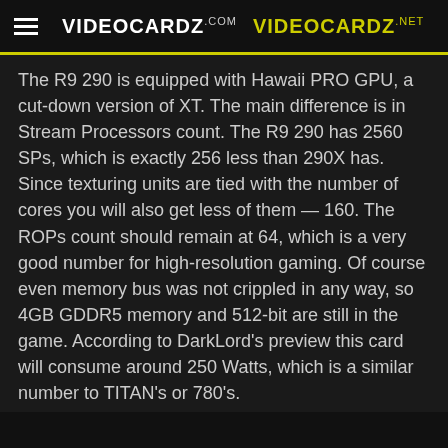VIDEOCARDZ.com  VIDEOCARDZ.net
The R9 290 is equipped with Hawaii PRO GPU, a cut-down version of XT. The main difference is in Stream Processors count. The R9 290 has 2560 SPs, which is exactly 256 less than 290X has. Since texturing units are tied with the number of cores you will also get less of them — 160. The ROPs count should remain at 64, which is a very good number for high-resolution gaming. Of course even memory bus was not crippled in any way, so 4GB GDDR5 memory and 512-bit are still in the game. According to DarkLord's preview this card will consume around 250 Watts, which is a similar number to TITAN's or 780's.